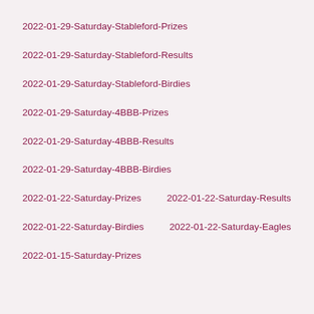2022-01-29-Saturday-Stableford-Prizes
2022-01-29-Saturday-Stableford-Results
2022-01-29-Saturday-Stableford-Birdies
2022-01-29-Saturday-4BBB-Prizes
2022-01-29-Saturday-4BBB-Results
2022-01-29-Saturday-4BBB-Birdies
2022-01-22-Saturday-Prizes
2022-01-22-Saturday-Results
2022-01-22-Saturday-Birdies
2022-01-22-Saturday-Eagles
2022-01-15-Saturday-Prizes